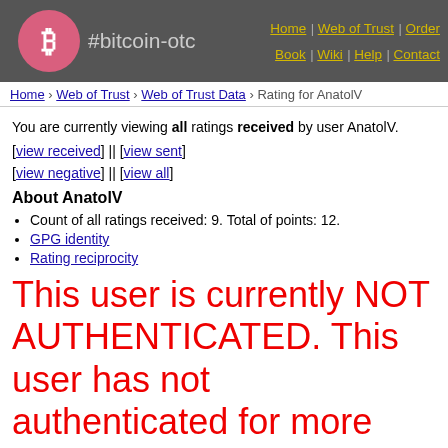#bitcoin-otc | Home | Web of Trust | Order Book | Wiki | Help | Contact
Home › Web of Trust › Web of Trust Data › Rating for AnatolV
You are currently viewing all ratings received by user AnatolV.
[view received] || [view sent]
[view negative] || [view all]
About AnatolV
Count of all ratings received: 9. Total of points: 12.
GPG identity
Rating reciprocity
This user is currently NOT AUTHENTICATED. This user has not authenticated for more than 4264 days. If you are currently